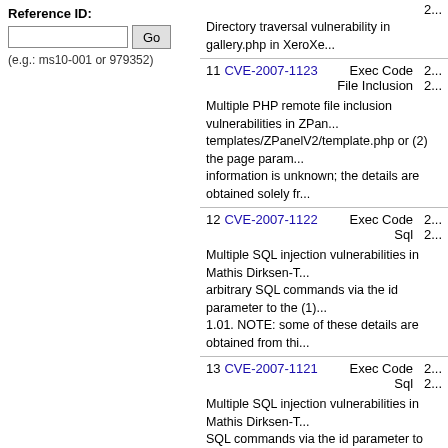Reference ID:
(e.g.: ms10-001 or 979352)
11 CVE-2007-1123 Exec Code 2... File Inclusion 2... Multiple PHP remote file inclusion vulnerabilities in ZPanel templates/ZPanelV2/template.php or (2) the page param information is unknown; the details are obtained solely fr...
12 CVE-2007-1122 Exec Code 2... Sql 2... Multiple SQL injection vulnerabilities in Mathis Dirksen-T arbitrary SQL commands via the id parameter to the (1)... 1.01. NOTE: some of these details are obtained from thi...
13 CVE-2007-1121 Exec Code 2... Sql 2... Multiple SQL injection vulnerabilities in Mathis Dirksen-T SQL commands via the id parameter to the (1) updateRo... information.
14 CVE-2007-1120 2... 2... The (1) Import.LoadFromURL and (2) Export.asText.Sav .tee file to an arbitrary location. NOTE: the provenance o...
15 CVE-2007-1119 2... 2...